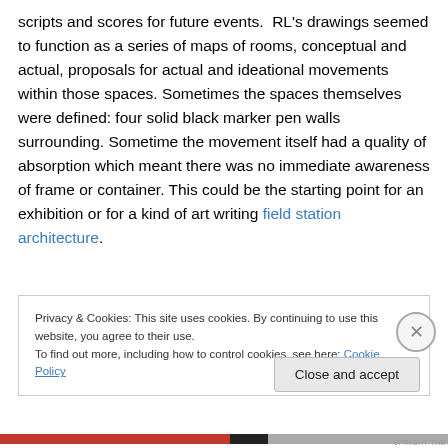scripts and scores for future events. RL's drawings seemed to function as a series of maps of rooms, conceptual and actual, proposals for actual and ideational movements within those spaces. Sometimes the spaces themselves were defined: four solid black marker pen walls surrounding. Sometime the movement itself had a quality of absorption which meant there was no immediate awareness of frame or container. This could be the starting point for an exhibition or for a kind of art writing field station architecture.
Privacy & Cookies: This site uses cookies. By continuing to use this website, you agree to their use.
To find out more, including how to control cookies, see here: Cookie Policy
Close and accept